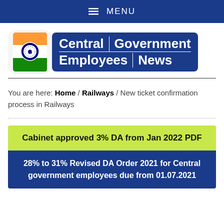≡ MENU
[Figure (logo): Central Government Employees News logo with Indian flag emblem icon]
You are here: Home / Railways / New ticket confirmation process in Railways
Cabinet approved 3% DA from Jan 2022 PDF
28% to 31% Revised DA Order 2021 for Central government employees due from 01.07.2021